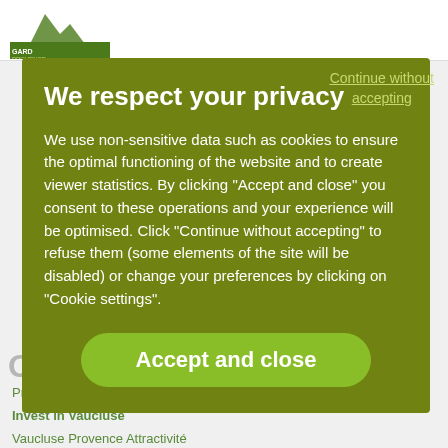[Figure (screenshot): Website header with logo for Gard Provence à vélo tourism site, partially visible behind cookie consent overlay]
Continue without accepting
We respect your privacy
We use non-sensitive data such as cookies to ensure the optimal functioning of the website and to create viewer statistics. By clicking "Accept and close" you consent to these operations and your experience will be optimised. Click "Continue without accepting" to refuse them (some elements of the site will be disabled) or change your preferences by clicking on "Cookie settings".
Accept and close
Provence Guide
Invest in Vaucluse
Vaucluse Provence Attractivité
Press
OUR DEDICATED SITES